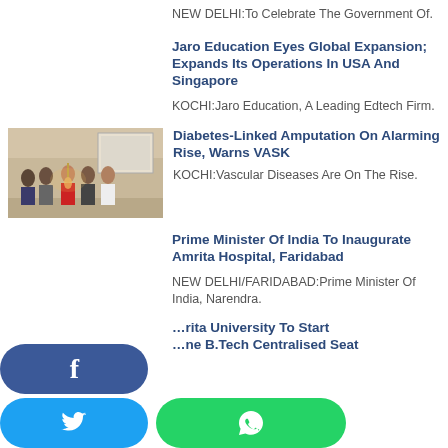NEW DELHI:To Celebrate The Government Of.
Jaro Education Eyes Global Expansion; Expands Its Operations In USA And Singapore
KOCHI:Jaro Education, A Leading Edtech Firm.
[Figure (photo): Group of people at an indoor event in front of a projector screen]
Diabetes-Linked Amputation On Alarming Rise, Warns VASK
KOCHI:Vascular Diseases Are On The Rise.
Prime Minister Of India To Inaugurate Amrita Hospital, Faridabad
NEW DELHI/FARIDABAD:Prime Minister Of India, Narendra.
…rita University To Start …ne B.Tech Centralised Seat